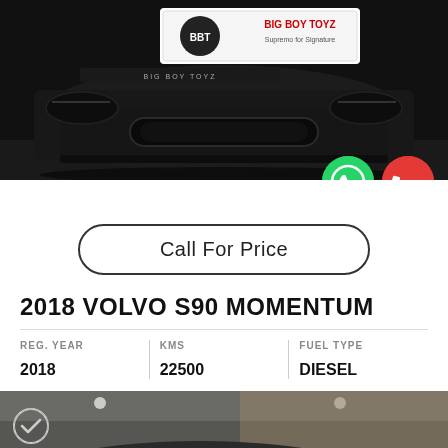[Figure (photo): Front view of a black Volvo S90 car with Big Boy Toyz logo/banner on the hood, shown in a showroom]
[Figure (infographic): Green WhatsApp button and red phone call button overlaid on the car image]
Call For Price
2018 VOLVO S90 MOMENTUM
| REG. YEAR | KMS | FUEL TYPE |
| --- | --- | --- |
| 2018 | 22500 | DIESEL |
[Figure (photo): Front view of a dark grey Volvo S90 car in a showroom with verification badge icon, sell us your car banner]
SELL US YOUR CAR IN 29 MINUTES